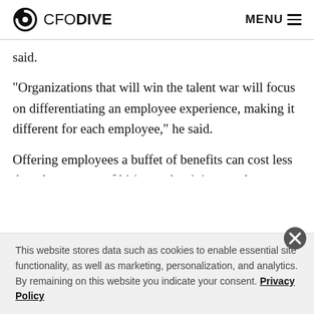CFO DIVE  MENU
said.
“Organizations that will win the talent war will focus on differentiating an employee experience, making it different for each employee,” he said.
Offering employees a buffet of benefits can cost less than the expense of hiring and training employees to fill vacated spots, the economists and labor force experts said.
This website stores data such as cookies to enable essential site functionality, as well as marketing, personalization, and analytics. By remaining on this website you indicate your consent. Privacy Policy